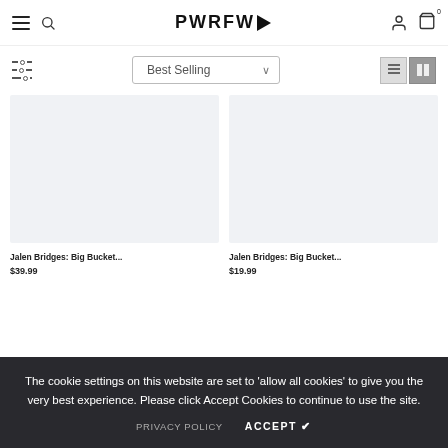PWRFW
Best Selling
[Figure (photo): Product image placeholder left - light gray rectangle]
[Figure (photo): Product image placeholder right - light gray rectangle]
Jalen Bridges: Big Bucket... $39.99
Jalen Bridges: Big Bucket... $19.99
The cookie settings on this website are set to 'allow all cookies' to give you the very best experience. Please click Accept Cookies to continue to use the site.
PRIVACY POLICY
ACCEPT ✔